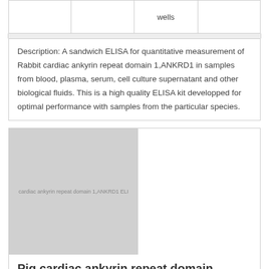|  |  | wells |  |
| --- | --- | --- | --- |
|  |  | wells |  |
Description: A sandwich ELISA for quantitative measurement of Rabbit cardiac ankyrin repeat domain 1,ANKRD1 in samples from blood, plasma, serum, cell culture supernatant and other biological fluids. This is a high quality ELISA kit developped for optimal performance with samples from the particular species.
[Figure (photo): Product image placeholder for Pig cardiac ankyrin repeat domain 1,ANKRD1 ELISA kit with text overlay]
Pig cardiac ankyrin repeat domain 1,ANKRD1 ELISA kit
|  |  |  |  |
| --- | --- | --- | --- |
| E07C1190-192T | BlueGene | 192 tests | EUR 1270 |